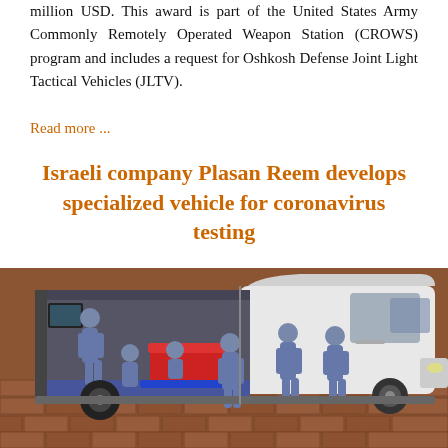million USD. This award is part of the United States Army Commonly Remotely Operated Weapon Station (CROWS) program and includes a request for Oshkosh Defense Joint Light Tactical Vehicles (JLTV).
Read more ...
Israeli company Plasan Reem develops specialized vehicle for coronavirus testing
[Figure (illustration): 3D rendering illustration of a white van cut away showing interior with medical personnel/figures in grey and red seating, set on a brick-patterned floor surface]